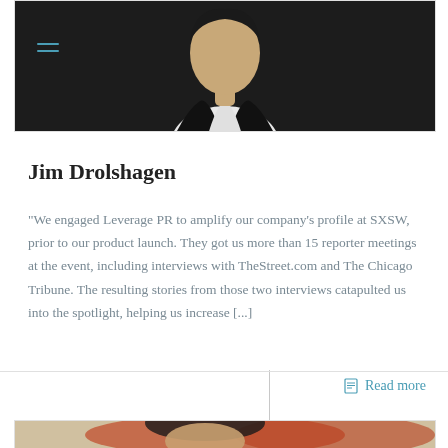[Figure (photo): Black and white photo of a person in a dark suit and white shirt, partially visible from the torso up]
Jim Drolshagen
"We engaged Leverage PR to amplify our company's profile at SXSW, prior to our product launch. They got us more than 15 reporter meetings at the event, including interviews with TheStreet.com and The Chicago Tribune. The resulting stories from those two interviews catapulted us into the spotlight, helping us increase [...]
Read more
[Figure (photo): Color photo of a man with dark hair against a red and blurred background, visible from shoulders up]